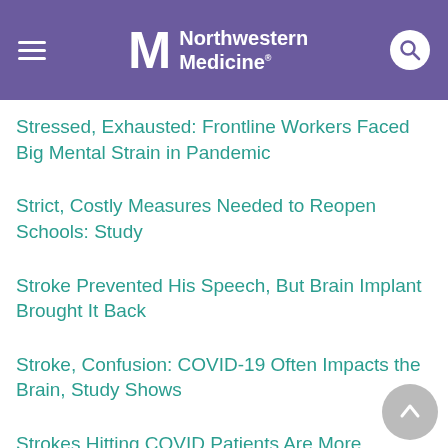Northwestern Medicine
Stressed, Exhausted: Frontline Workers Faced Big Mental Strain in Pandemic
Strict, Costly Measures Needed to Reopen Schools: Study
Stroke Prevented His Speech, But Brain Implant Brought It Back
Stroke, Confusion: COVID-19 Often Impacts the Brain, Study Shows
Strokes Hitting COVID Patients Are More Severe: Study
Strong Blood Thinners May Help COVID Patients, But Degree of Illness Is Key
Stuck at Home, Suffering With COVID? Experts Offer Guidance on Care